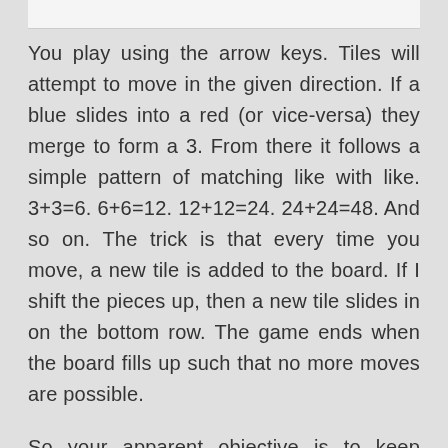You play using the arrow keys. Tiles will attempt to move in the given direction. If a blue slides into a red (or vice-versa) they merge to form a 3. From there it follows a simple pattern of matching like with like. 3+3=6. 6+6=12. 12+12=24. 24+24=48. And so on. The trick is that every time you move, a new tile is added to the board. If I shift the pieces up, then a new tile slides in on the bottom row. The game ends when the board fills up such that no more moves are possible.
So your apparent objective is to keep merging tiles to make ever-larger numbers. But the actual challenge is to simply merge tiles faster than they